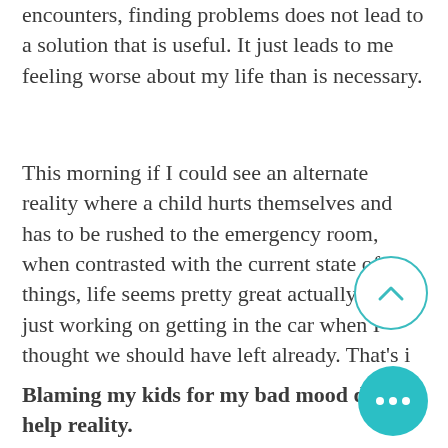encounters, finding problems does not lead to a solution that is useful. It just leads to me feeling worse about my life than is necessary.
This morning if I could see an alternate reality where a child hurts themselves and has to be rushed to the emergency room, when contrasted with the current state of things, life seems pretty great actually! We're just working on getting in the car when I thought we should have left already. That's i
Blaming my kids for my bad mood doesn't help reality.